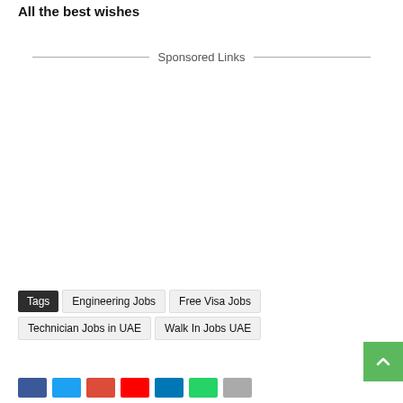All the best wishes
Sponsored Links
Tags  Engineering Jobs  Free Visa Jobs  Technician Jobs in UAE  Walk In Jobs UAE